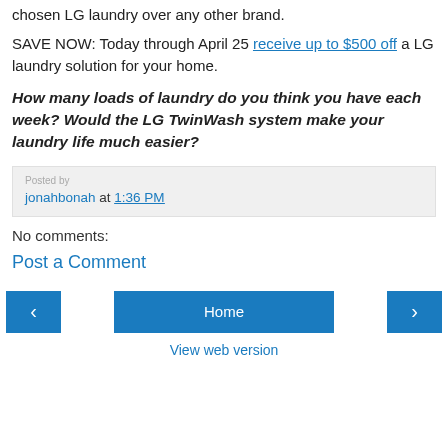chosen LG laundry over any other brand.
SAVE NOW: Today through April 25 receive up to $500 off a LG laundry solution for your home.
How many loads of laundry do you think you have each week? Would the LG TwinWash system make your laundry life much easier?
Posted by jonahbonah at 1:36 PM
No comments:
Post a Comment
Home
View web version